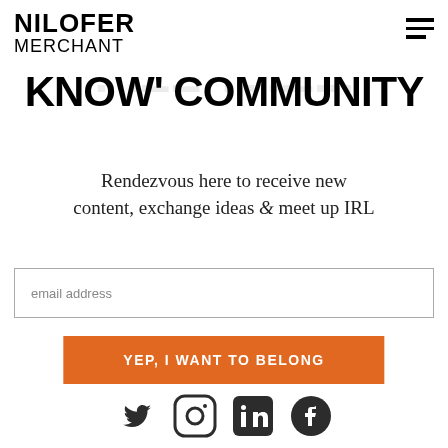NILOFER MERCHANT
KNOW' COMMUNITY
Rendezvous here to receive new content, exchange ideas & meet up IRL
email address
YEP, I WANT TO BELONG
[Figure (illustration): Social media icons: Twitter, Instagram, LinkedIn, Facebook]